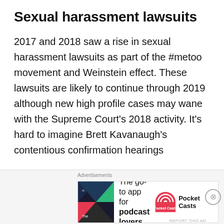Sexual harassment lawsuits
2017 and 2018 saw a rise in sexual harassment lawsuits as part of the #metoo movement and Weinstein effect. These lawsuits are likely to continue through 2019 although new high profile cases may wane with the Supreme Court's 2018 activity. It's hard to imagine Brett Kavanaugh's contentious confirmation hearings
[Figure (other): Advertisement banner for Pocket Casts podcast app with text: The go-to app for podcast lovers.]